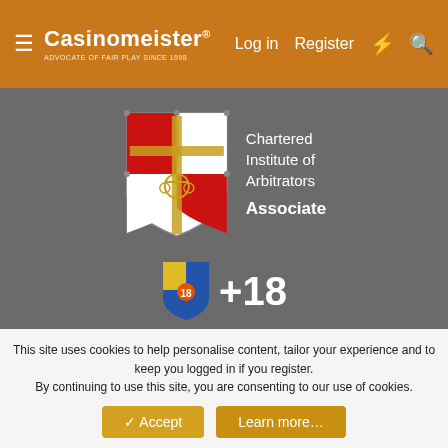Casinomeister® — Log in | Register
[Figure (logo): Chartered Institute of Arbitrators shield logo with red and gold heraldic design]
Chartered Institute of Arbitrators
Associate
[Figure (logo): +18 shield icon with blue and gold design, and text +18]
[Figure (logo): BeGambleAware.org logo]
About us
Assisting players and serving the online gaming industry since 1998
Where to Start
This site uses cookies to help personalise content, tailor your experience and to keep you logged in if you register.
By continuing to use this site, you are consenting to our use of cookies.